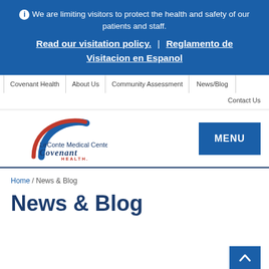ⓘ We are limiting visitors to protect the health and safety of our patients and staff.
Read our visitation policy. | Reglamento de Visitacion en Espanol
Covenant Health | About Us | Community Assessment | News/Blog | Contact Us
[Figure (logo): LeConte Medical Center Covenant Health logo with red and blue arc]
MENU
Home / News & Blog
News & Blog